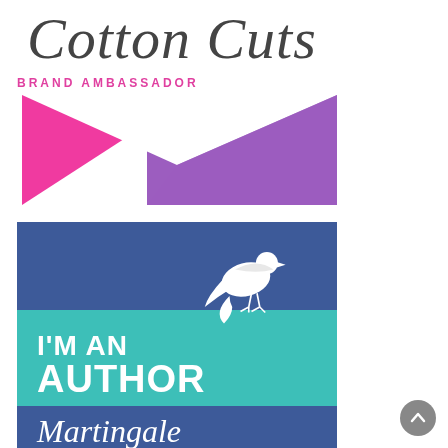[Figure (logo): Cotton Cuts script logo in dark gray cursive text]
BRAND AMBASSADOR
[Figure (logo): Cotton Cuts Brand Ambassador logo with pink and purple geometric envelope/triangle shapes on white background]
[Figure (logo): Martingale I'm An Author badge with blue and teal sections, white bird silhouette, and text: I'M AN AUTHOR and Martingale]